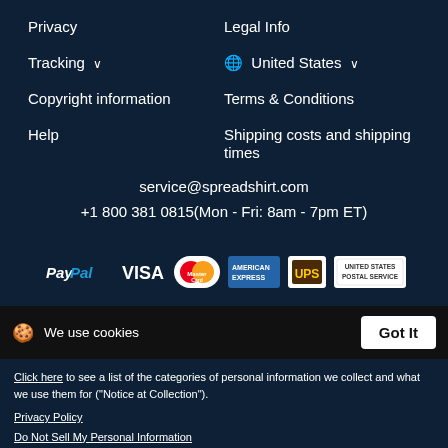Privacy
Legal Info
Tracking ∨
🌐 United States ∨
Copyright information
Terms & Conditions
Help
Shipping costs and shipping times
service@spreadshirt.com
+1 800 381 0815(Mon - Fri: 8am - 7pm ET)
[Figure (logo): Payment method logos: PayPal, VISA, MasterCard, American Express, UPS, United States Postal Service]
We use cookies
Got It
Click here to see a list of the categories of personal information we collect and what we use them for ("Notice at Collection").
Privacy Policy
Do Not Sell My Personal Information
By using this website, I agree to the Terms and Conditions